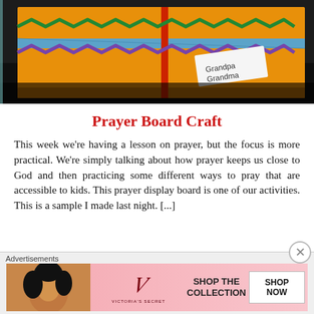[Figure (photo): A yellow/orange decorated box with colorful zigzag ribbon trim (green and purple), a blue ribbon, a red ribbon, and a white tag that reads 'Grandpa Grandma', placed on a dark wooden surface. The box appears to be a handmade craft prayer board.]
Prayer Board Craft
This week we're having a lesson on prayer, but the focus is more practical. We're simply talking about how prayer keeps us close to God and then practicing some different ways to pray that are accessible to kids. This prayer display board is one of our activities. This is a sample I made last night. [...]
[Figure (screenshot): Victoria's Secret advertisement banner showing a woman's face on the left, VS logo in center, text 'SHOP THE COLLECTION' and a 'SHOP NOW' button on a pink background.]